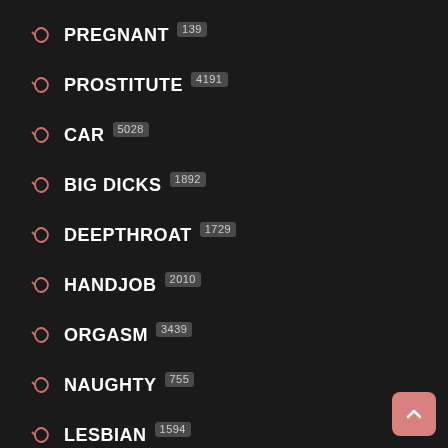PREGNANT 139
PROSTITUTE 4191
CAR 5028
BIG DICKS 1892
DEEPTHROAT 1729
HANDJOB 2010
ORGASM 3439
NAUGHTY 755
LESBIAN 1594